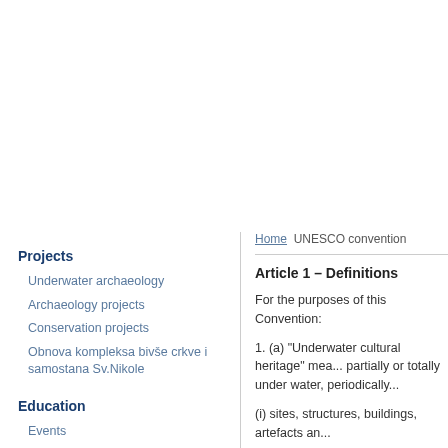Projects
Underwater archaeology
Archaeology projects
Conservation projects
Obnova kompleksa bivše crkve i samostana Sv.Nikole
Education
Events
Courses
Underwater sites and museums
Home  UNESCO convention
Article 1 – Definitions
For the purposes of this Convention:
1. (a) "Underwater cultural heritage" mea... partially or totally under water, periodically...
(i) sites, structures, buildings, artefacts an...
(ii) vessels, aircraft, other vehicles or any...